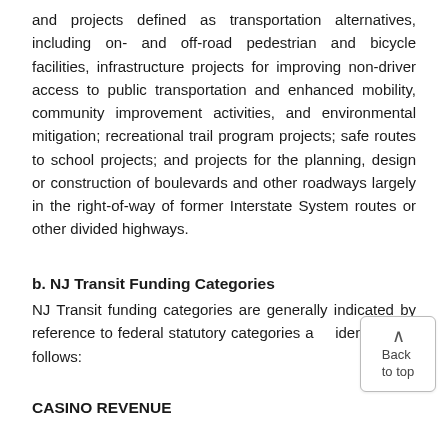and projects defined as transportation alternatives, including on- and off-road pedestrian and bicycle facilities, infrastructure projects for improving non-driver access to public transportation and enhanced mobility, community improvement activities, and environmental mitigation; recreational trail program projects; safe routes to school projects; and projects for the planning, design or construction of boulevards and other roadways largely in the right-of-way of former Interstate System routes or other divided highways.
b. NJ Transit Funding Categories
NJ Transit funding categories are generally indicated by reference to federal statutory categories and identified as follows:
CASINO REVENUE